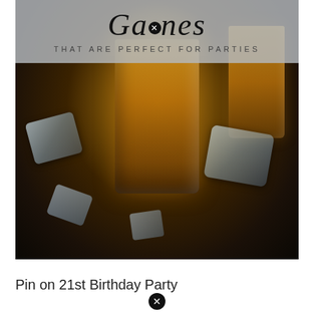[Figure (photo): Dark atmospheric photo of whiskey glasses filled with amber liquid and ice cubes scattered on a dark reflective surface, with liquid splash visible at the top of the central glass]
Games THAT ARE PERFECT FOR PARTIES
Pin on 21st Birthday Party